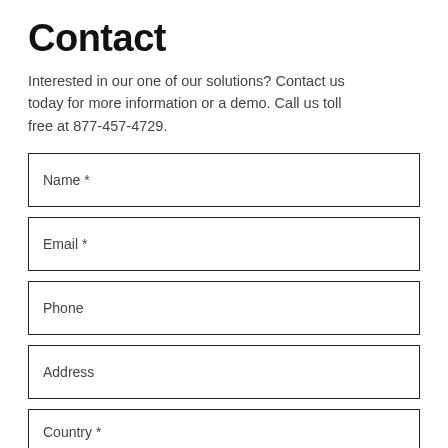Contact
Interested in our one of our solutions? Contact us today for more information or a demo. Call us toll free at 877-457-4729.
Name *
Email *
Phone
Address
Country *